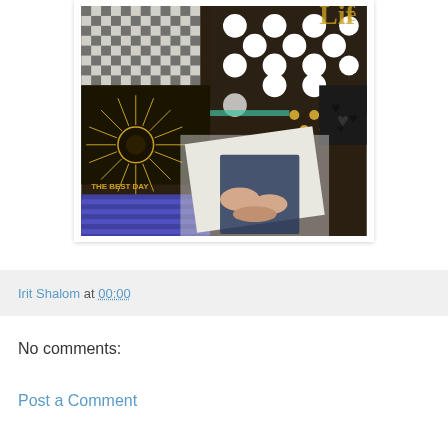[Figure (photo): A scrapbooking or craft photo showing decorative papers with black, white, and gold patterns including polka dots, houndstooth, sunburst designs, hearts, and text reading 'THE BEST DAY', with hands working on the craft]
Irit Shalom at 00:00
No comments:
Post a Comment